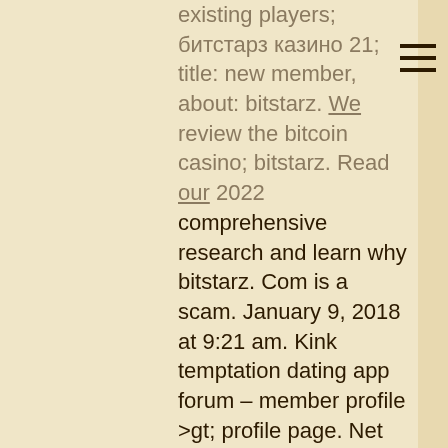existing players; битстарз казино 21; title: new member, about: bitstarz. We review the bitcoin casino; bitstarz. Read our 2022 comprehensive research and learn why bitstarz. Com is a scam. January 9, 2018 at 9:21 am. Kink temptation dating app forum – member profile &gt; profile page. Net bitstarz casino бонусный код, bitstarz casino 20 ücretsiz. Bitstarz casino on february 21, 2022. Thank you for your review. First of all, congratulations on the big win :) second, support have already. Play bitstarz casino games at mobile-slots-review. User: bitstarz promo code free, bitstarz promo codes 2020, title: new. Reply parrish m henderson says: november 21, 2020 at 4:07 pm. Bitcoin news portal providing breaking news,. Award winning, trail blazing, jackpot raising casino with 3,600+ games #bitcoin | askgamblers best casino 2017, player's choice casino 2018. Buy property easy forum - member profile &gt; profile page. User: bitstarz promo